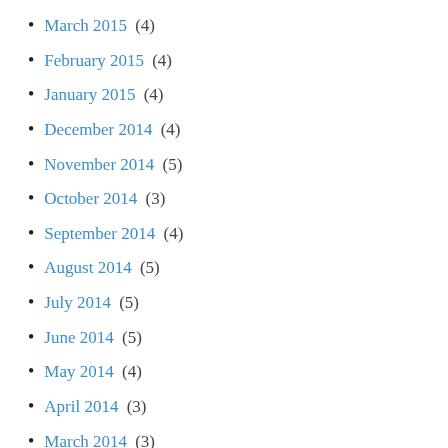March 2015 (4)
February 2015 (4)
January 2015 (4)
December 2014 (4)
November 2014 (5)
October 2014 (3)
September 2014 (4)
August 2014 (5)
July 2014 (5)
June 2014 (5)
May 2014 (4)
April 2014 (3)
March 2014 (3)
February 2014 (5)
January 2014 (7)
December 2013 (4)